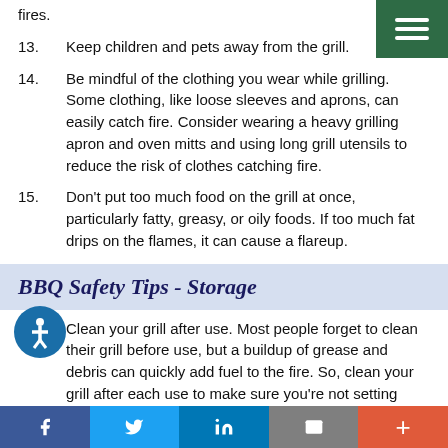fires.
13.   Keep children and pets away from the grill.
14.   Be mindful of the clothing you wear while grilling. Some clothing, like loose sleeves and aprons, can easily catch fire. Consider wearing a heavy grilling apron and oven mitts and using long grill utensils to reduce the risk of clothes catching fire.
15.   Don't put too much food on the grill at once, particularly fatty, greasy, or oily foods. If too much fat drips on the flames, it can cause a flareup.
BBQ Safety Tips - Storage
16.   Clean your grill after use. Most people forget to clean their grill before use, but a buildup of grease and debris can quickly add fuel to the fire. So, clean your grill after each use to make sure you're not setting yourself up for a mess next time you BBQ.
17.   Do not store or cover your grill until it's completely
Facebook  Twitter  LinkedIn  Email  +